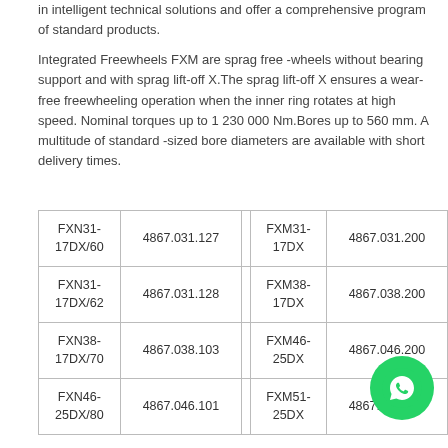in intelligent technical solutions and offer a comprehensive program of standard products.
Integrated Freewheels FXM are sprag free -wheels without bearing support and with sprag lift-off X.The sprag lift-off X ensures a wear-free freewheeling operation when the inner ring rotates at high speed. Nominal torques up to 1 230 000 Nm.Bores up to 560 mm. A multitude of standard -sized bore diameters are available with short delivery times.
| FXN31-17DX/60 | 4867.031.127 |  | FXM31-17DX | 4867.031.200 |
| FXN31-17DX/62 | 4867.031.128 |  | FXM38-17DX | 4867.038.200 |
| FXN38-17DX/70 | 4867.038.103 |  | FXM46-25DX | 4867.046.200 |
| FXN46-25DX/80 | 4867.046.101 |  | FXM51-25DX | 4867.051.200 |